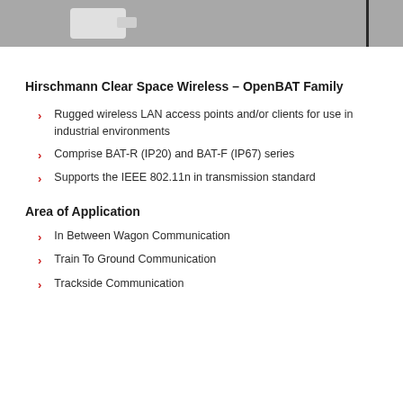[Figure (photo): Gray photo strip showing a white wireless device/access point on a gray background with a black vertical bar on the right side]
Hirschmann Clear Space Wireless – OpenBAT Family
Rugged wireless LAN access points and/or clients for use in industrial environments
Comprise BAT-R (IP20) and BAT-F (IP67) series
Supports the IEEE 802.11n in transmission standard
Area of Application
In Between Wagon Communication
Train To Ground Communication
Trackside Communication